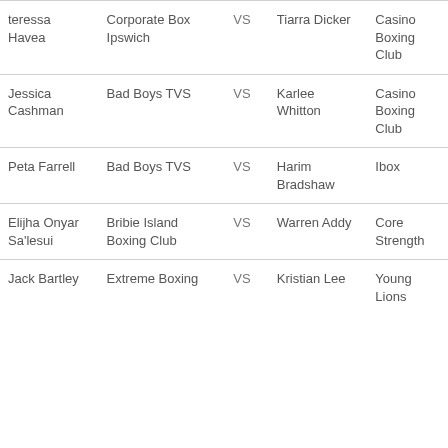| Fighter 1 | Club 1 | VS | Fighter 2 | Club 2 |
| --- | --- | --- | --- | --- |
| teressa Havea | Corporate Box Ipswich | VS | Tiarra Dicker | Casino Boxing Club |
| Jessica Cashman | Bad Boys TVS | VS | Karlee Whitton | Casino Boxing Club |
| Peta Farrell | Bad Boys TVS | VS | Harim Bradshaw | Ibox |
| Elijha Onyar Sa'lesui | Bribie Island Boxing Club | VS | Warren Addy | Core Strength |
| Jack Bartley | Extreme Boxing | VS | Kristian Lee | Young Lions |